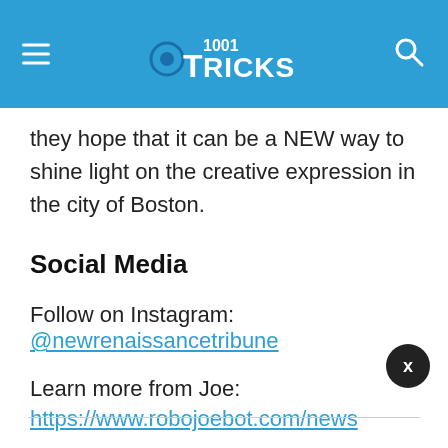1001 Tricks
they hope that it can be a NEW way to shine light on the creative expression in the city of Boston.
Social Media
Follow on Instagram: @newrenaissancetribune
Learn more from Joe:
https://www.robojoebot.com/news
Read next – How to Make Money With Mobile Photos